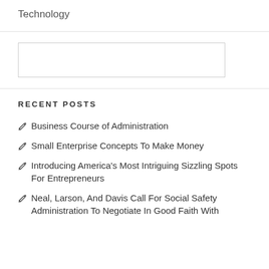Technology
[Figure (other): Empty search input box with border]
RECENT POSTS
Business Course of Administration
Small Enterprise Concepts To Make Money
Introducing America's Most Intriguing Sizzling Spots For Entrepreneurs
Neal, Larson, And Davis Call For Social Safety Administration To Negotiate In Good Faith With